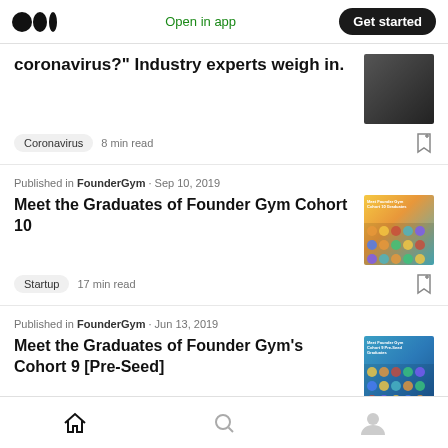Medium logo | Open in app | Get started
coronavirus?" Industry experts weigh in.
Coronavirus · 8 min read
Published in FounderGym · Sep 10, 2019
Meet the Graduates of Founder Gym Cohort 10
Startup · 17 min read
Published in FounderGym · Jun 13, 2019
Meet the Graduates of Founder Gym's Cohort 9 [Pre-Seed]
Home | Search | Profile